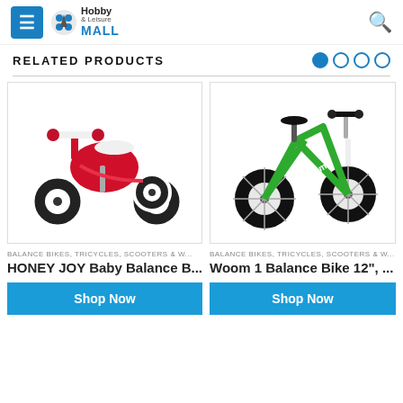Hobby & Leisure MALL
RELATED PRODUCTS
[Figure (photo): Red HONEY JOY baby balance bike/tricycle with three wheels and white seat on white background]
BALANCE BIKES, TRICYCLES, SCOOTERS & W...
HONEY JOY Baby Balance B...
[Figure (photo): Green Woom 1 balance bike with 12-inch wheels and black seat on white background]
BALANCE BIKES, TRICYCLES, SCOOTERS & W...
Woom 1 Balance Bike 12", ...
Shop Now
Shop Now